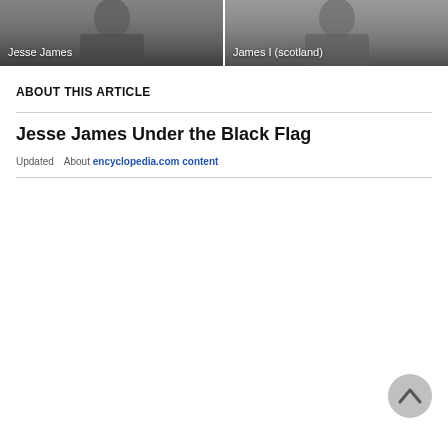[Figure (photo): Two image cards side by side: left shows Jesse James (person in suit with tie), right shows James I (scotland). Both have dark overlay backgrounds with white text labels at bottom left.]
ABOUT THIS ARTICLE
Jesse James Under the Black Flag
Updated   About encyclopedia.com content
[Figure (other): Back-to-top button: grey circle with upward chevron arrow]